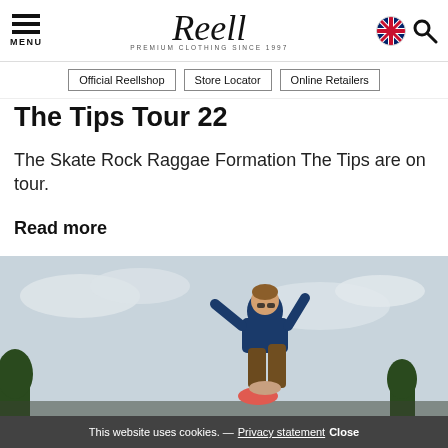MENU | Reell PREMIUM CLOTHING SINCE 1997 | [flag] [search]
[Figure (screenshot): Reell brand logo with italic script 'Reell' and tagline 'PREMIUM CLOTHING SINCE 1997']
Official Reellshop
Store Locator
Online Retailers
The Tips Tour 22
The Skate Rock Raggae Formation The Tips are on tour.
Read more
[Figure (photo): Skateboarder in mid-air trick, wearing dark blue shirt and brown pants, photographed from below against cloudy sky]
This website uses cookies. — Privacy statement Close